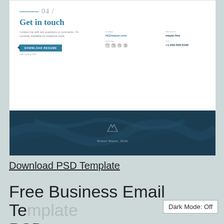[Figure (screenshot): Preview of a resume/portfolio webpage showing a 'Get in touch' section (04/) with contact details including email hi@mayer.com, website mayer.live, social icons, phone +1-202-555-0102, a Download Resume button, and a dark teal footer with monogram WA and text 'Robert Mayer, 2016'.]
Download PSD Template
Free Business Email Template PSD